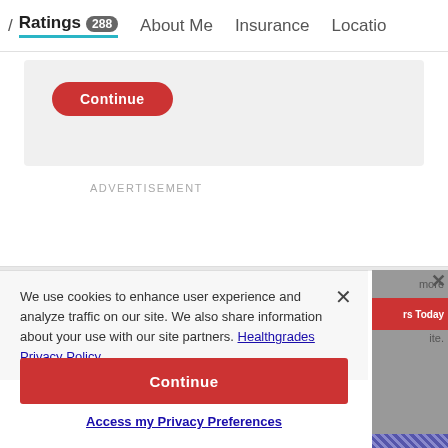/ Ratings 288  About Me  Insurance  Locatio
[Figure (screenshot): Continue button in a gray rounded box (upper section of page)]
ADVERTISEMENT
We use cookies to enhance user experience and analyze traffic on our site. We also share information about your use with our site partners. Healthgrades Privacy Policy
[Figure (screenshot): Continue button (red, full-width) in cookie consent modal]
Access my Privacy Preferences